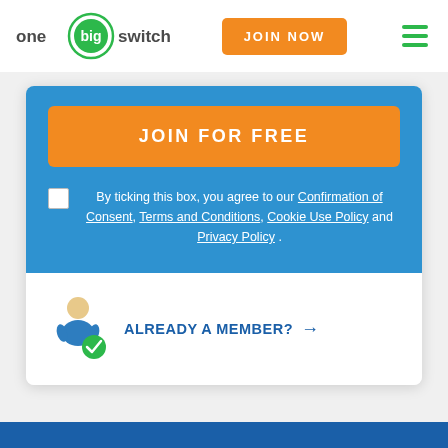[Figure (logo): One Big Switch logo: green circle with 'big' text, surrounded by ring, with 'one' and 'switch' text]
JOIN NOW
[Figure (infographic): Hamburger menu icon with three green horizontal lines]
JOIN FOR FREE
By ticking this box, you agree to our Confirmation of Consent, Terms and Conditions, Cookie Use Policy and Privacy Policy .
[Figure (illustration): Person icon with blue shirt and green checkmark badge]
ALREADY A MEMBER? →